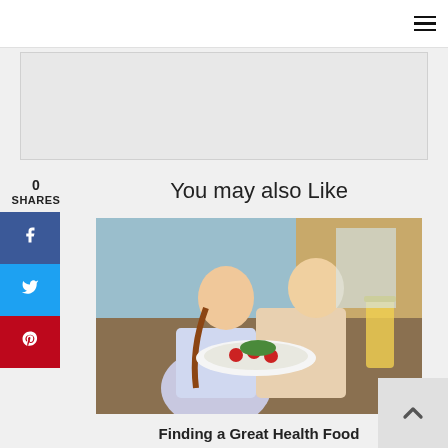Navigation menu icon (hamburger)
[Figure (other): Advertisement or banner placeholder area — light gray rectangle]
0
SHARES
[Figure (other): Social share buttons: Facebook (blue), Twitter (light blue), Pinterest (red)]
You may also Like
[Figure (photo): Photo of two women in traditional Bavarian dress serving a plate of food with cherry tomatoes and salad, with beer glasses in the background at a restaurant]
Finding a Great Health Food Restaurant in Houston